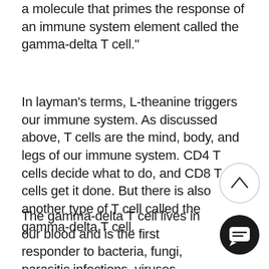a molecule that primes the response of an immune system element called the gamma-delta T cell."
In layman's terms, L-theanine triggers our immune system. As discussed above, T cells are the mind, body, and legs of our immune system. CD4 T cells decide what to do, and CD8 T cells get it done. But there is also another type of T cell called the gamma-delta T cell.
The gamma-delta T cell lives in our blood and is the first responder to bacteria, fungi, parasitic infections, viruses. Viruses like the coronavirus. These T cells are also known for having some anti-tumor qualities.